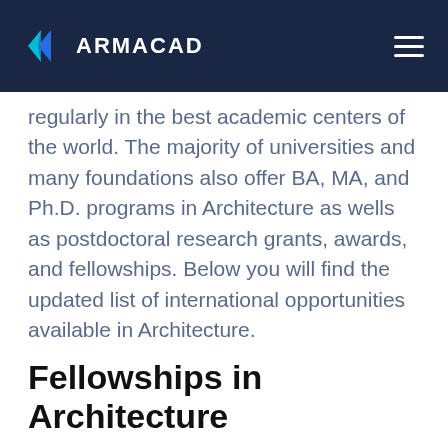ARMACAD
regularly in the best academic centers of the world. The majority of universities and many foundations also offer BA, MA, and Ph.D. programs in Architecture as wells as postdoctoral research grants, awards, and fellowships. Below you will find the updated list of international opportunities available in Architecture.
Fellowships in Architecture
AIA Architecture Grants and